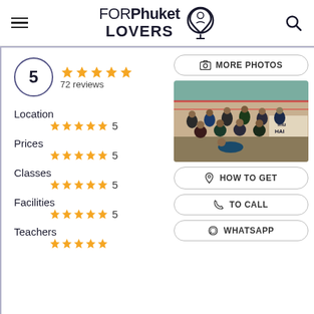FORPhuket LOVERS
5  ★★★★★  72 reviews
Location ★★★★★ 5
Prices ★★★★★ 5
Classes ★★★★★ 5
Facilities ★★★★★ 5
Teachers
[Figure (screenshot): Button: MORE PHOTOS with camera icon]
[Figure (photo): Group photo of Muay Thai fighters/students at a boxing gym ring]
[Figure (screenshot): Button: HOW TO GET with location pin icon]
[Figure (screenshot): Button: TO CALL with phone icon]
[Figure (screenshot): Button: WHATSAPP with whatsapp icon]